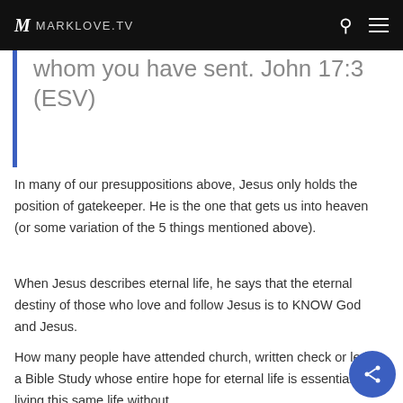MARKLOVE.TV
whom you have sent. John 17:3 (ESV)
In many of our presuppositions above, Jesus only holds the position of gatekeeper. He is the one that gets us into heaven (or some variation of the 5 things mentioned above).
When Jesus describes eternal life, he says that the eternal destiny of those who love and follow Jesus is to KNOW God and Jesus.
How many people have attended church, written check or led a Bible Study whose entire hope for eternal life is essentially living this same life without